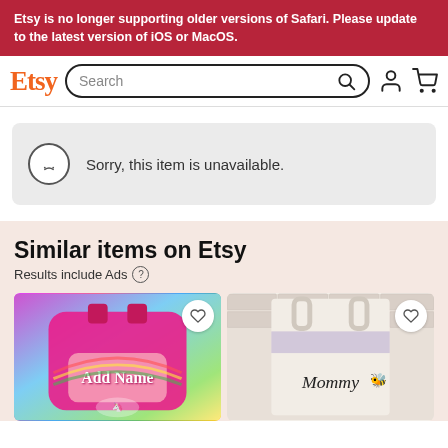Etsy is no longer supporting older versions of Safari. Please update to the latest version of iOS or MacOS.
[Figure (screenshot): Etsy navigation bar with logo, search bar, user icon and cart icon]
Sorry, this item is unavailable.
Similar items on Etsy
Results include Ads
[Figure (photo): Colorful unicorn rainbow backpack with text 'Add Name' on it — a personalized kids bag product thumbnail]
[Figure (photo): Cream/white tote bag with 'Mommy' text and bee illustration on brick background — product thumbnail]